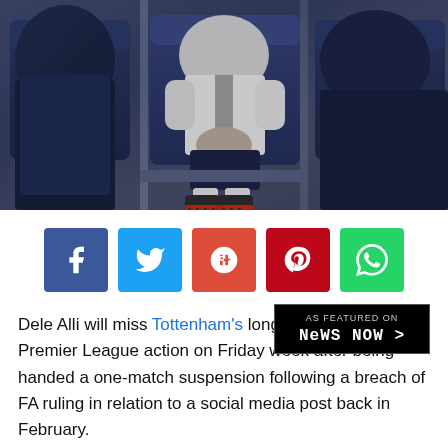[Figure (photo): Sports photo showing a footballer (in white Tottenham kit) sitting in stadium seats, with other figures around him. The player appears to be resting or injured, with football boots visible.]
[Figure (infographic): Social media sharing buttons row: Facebook (blue), Twitter (light blue), Google+ (red-orange), Pinterest (dark red), WhatsApp (green)]
Dele Alli will miss Tottenham's long-awaited return to Premier League action on Friday week after being handed a one-match suspension following a breach of FA ruling in relation to a social media post back in February.